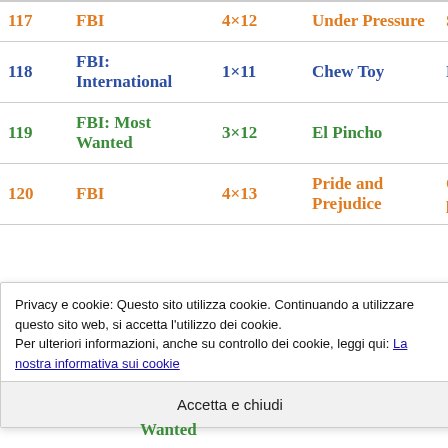| # | Show | Ep | Title (EN) | Title (IT) |
| --- | --- | --- | --- | --- |
| 117 | FBI | 4×12 | Under Pressure | Sotto p… |
| 118 | FBI: International | 1×11 | Chew Toy | La tratt… |
| 119 | FBI: Most Wanted | 3×12 | El Pincho |  |
| 120 | FBI | 4×13 | Pride and Prejudice | Orgogli… pregiud… |
One Point One… (partially visible)
Privacy e cookie: Questo sito utilizza cookie. Continuando a utilizzare questo sito web, si accetta l'utilizzo dei cookie.
Per ulteriori informazioni, anche su controllo dei cookie, leggi qui: La nostra informativa sui cookie
Accetta e chiudi